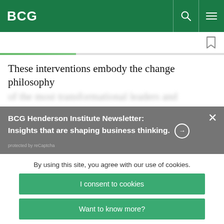BCG
These interventions embody the change philosophy
BCG Henderson Institute Newsletter: Insights that are shaping business thinking. →
protected by reCaptcha
By using this site, you agree with our use of cookies.
I consent to cookies
Want to know more?
Read our Cookie Policy